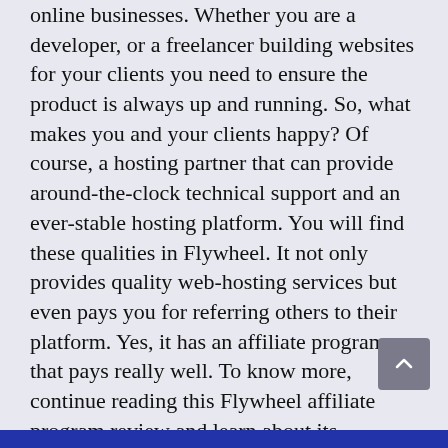online businesses. Whether you are a developer, or a freelancer building websites for your clients you need to ensure the product is always up and running. So, what makes you and your clients happy? Of course, a hosting partner that can provide around-the-clock technical support and an ever-stable hosting platform. You will find these qualities in Flywheel. It not only provides quality web-hosting services but even pays you for referring others to their platform. Yes, it has an affiliate program that pays really well. To know more, continue reading this Flywheel affiliate program review and learn about its products, affiliate commissions, support, pros, and cons.